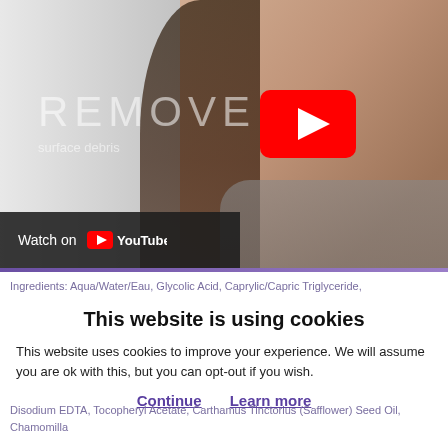[Figure (screenshot): YouTube video thumbnail showing a woman touching her face with text 'REMOVE' and 'surface debris' overlaid, with a red YouTube play button in the center and a 'Watch on YouTube' bar at the bottom left.]
Ingredients: Aqua/Water/Eau, Glycolic Acid, Caprylic/Capric Triglyceride, ...
This website is using cookies
This website uses cookies to improve your experience. We will assume you are ok with this, but you can opt-out if you wish.
Continue  Learn more
Disodium EDTA, ... Tocopheryl Acetate, Carthamus Tinctorius (Safflower) Seed Oil, Chamomilla ...